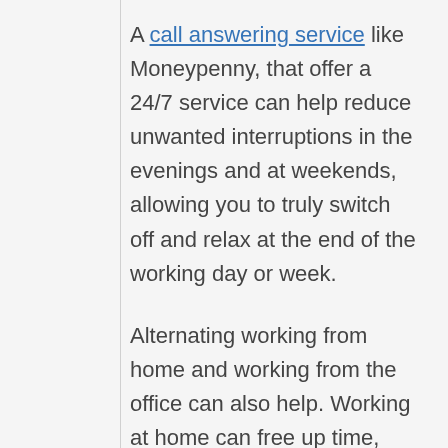A call answering service like Moneypenny, that offer a 24/7 service can help reduce unwanted interruptions in the evenings and at weekends, allowing you to truly switch off and relax at the end of the working day or week.
Alternating working from home and working from the office can also help. Working at home can free up time, reduce the stress of a rush-hour commute and make it